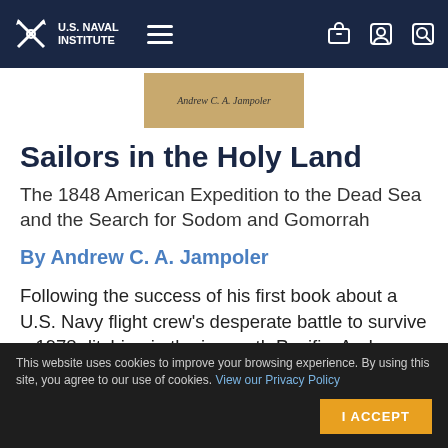U.S. Naval Institute — navigation bar
[Figure (photo): Partial book cover showing author name 'Andrew C. A. Jampoler' on a tan/golden background]
Sailors in the Holy Land
The 1848 American Expedition to the Dead Sea and the Search for Sodom and Gomorrah
By Andrew C. A. Jampoler
Following the success of his first book about a U.S. Navy flight crew's desperate battle to survive a 1978 ditching in the icy north Pacific, Andrew Jampoler has turned to an equally exciting Navy adventure set in the desert of Ottoman Syria more than
This website uses cookies to improve your browsing experience. By using this site, you agree to our use of cookies. View our Privacy Policy